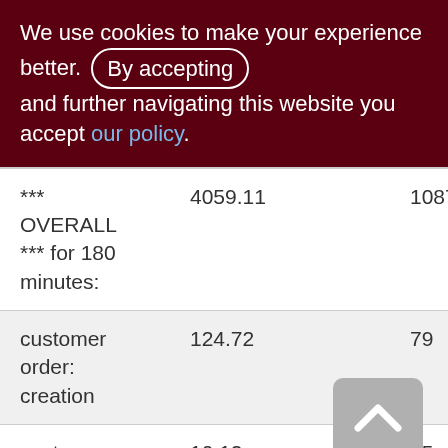We use cookies to make your experience better. By accepting and further navigating this website you accept our policy.
|  |  |  |
| --- | --- | --- |
| *** OVERALL *** for 180 minutes: | 4059.11 | 1087 |
| customer order: creation | 124.72 | 79 |
| customer order: refuse | 10.12 | 55 |
| order to supplier: | 32.57 | 223 |